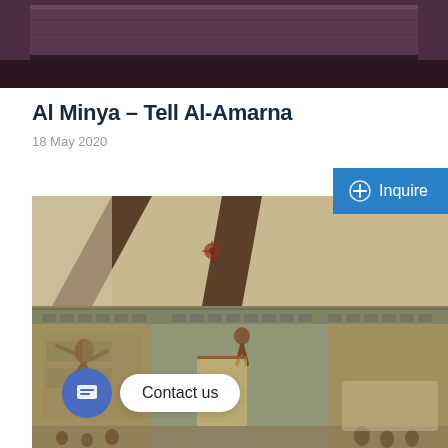[Figure (photo): Top portion of a dark wooden surface or furniture piece against a dark background, partially cropped.]
Al Minya – Tell Al-Amarna
18 May 2020
[Figure (photo): Interior of an ancient Egyptian tomb at Tell Al-Amarna showing painted wall murals with hieroglyphics, figures of people, animals, and decorative patterns on stone walls and ceiling. A contact us chat bubble is overlaid on the lower left corner.]